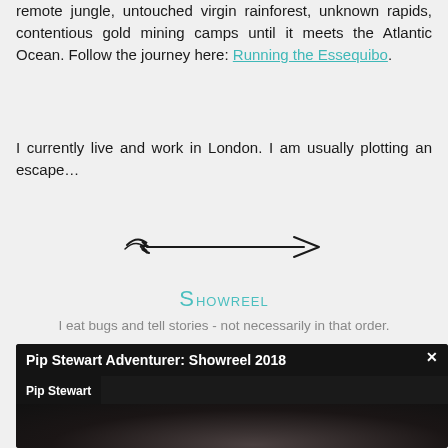remote jungle, untouched virgin rainforest, unknown rapids, contentious gold mining camps until it meets the Atlantic Ocean. Follow the journey here: Running the Essequibo.
I currently live and work in London. I am usually plotting an escape…
[Figure (illustration): Decorative hand-drawn arrow divider pointing right with feather-like tail on the left]
Showreel
I eat bugs and tell stories - not necessarily in that order.
[Figure (screenshot): Video player thumbnail showing 'Pip Stewart Adventurer: Showreel 2018' title bar and 'Pip Stewart' channel label on dark background]